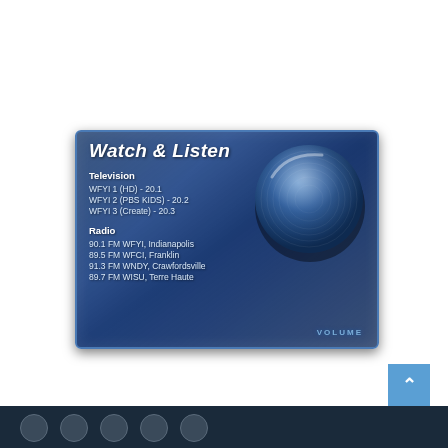[Figure (infographic): WFYI 'Watch & Listen' promotional card with blue metallic background featuring a large circular volume knob on the right side. Lists television channels (WFYI 1 HD 20.1, WFYI 2 PBS KIDS 20.2, WFYI 3 Create 20.3) and radio frequencies (90.1 FM WFYI Indianapolis, 89.5 FM WFCI Franklin, 91.3 FM WNDY Crawfordsville, 89.7 FM WISU Terre Haute) with 'VOLUME' label at bottom right.]
Watch & Listen
Television
WFYI 1 (HD) - 20.1
WFYI 2 (PBS KIDS) - 20.2
WFYI 3 (Create) - 20.3
Radio
90.1 FM WFYI, Indianapolis
89.5 FM WFCI, Franklin
91.3 FM WNDY, Crawfordsville
89.7 FM WISU, Terre Haute